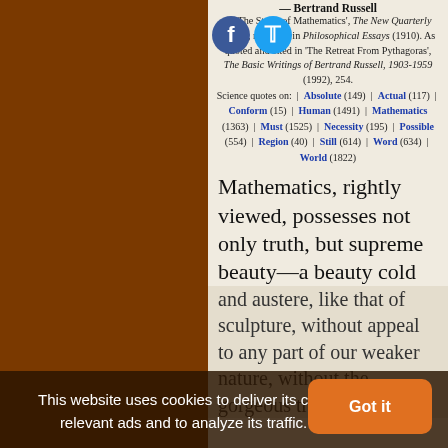— Bertrand Russell
In 'The Study of Mathematics', The New Quarterly (1907), reprinted in Philosophical Essays (1910). As quoted and cited in 'The Retreat From Pythagoras', The Basic Writings of Bertrand Russell, 1903-1959 (1992), 254.
Science quotes on: | Absolute (149) | Actual (117) | Conform (15) | Human (1491) | Mathematics (1363) | Must (1525) | Necessity (195) | Possible (554) | Region (40) | Still (614) | Word (634) | World (1822)
Mathematics, rightly viewed, possesses not only truth, but supreme beauty—a beauty cold and austere, like that of sculpture, without appeal to any part of our weaker nature, without the gorgeous trappings
This website uses cookies to deliver its content, to show relevant ads and to analyze its traffic. Learn More